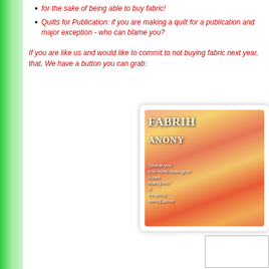for the sake of being able to buy fabric!
Quilts for Publication: if you are making a quilt for a publication and major exception - who can blame you?
If you are like us and would like to commit to not buying fabric next year, that. We have a button you can grab:
[Figure (illustration): Promotional badge/button image for 'Fabricholics Anonymous' challenge, showing rolled fabric bolts in warm orange/red/yellow tones with text overlay. Text reads: FABRICH ANONY cleanse your a six month challenge th hosted making redo & the slem p starting Januar]